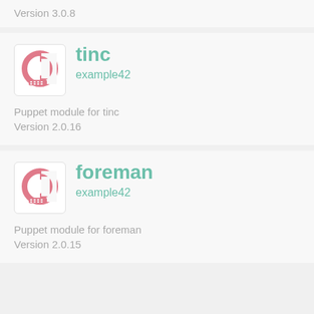Version 3.0.8
[Figure (logo): Puppet Forge module logo for tinc by example42]
tinc
example42
Puppet module for tinc
Version 2.0.16
[Figure (logo): Puppet Forge module logo for foreman by example42]
foreman
example42
Puppet module for foreman
Version 2.0.15